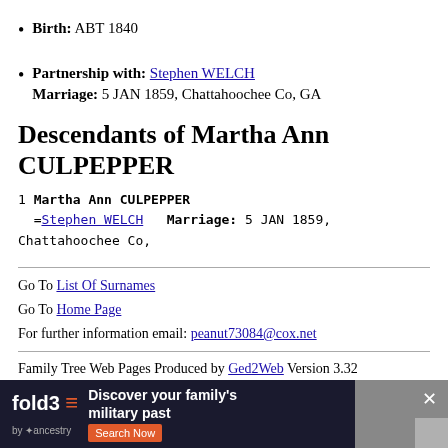Birth: ABT 1840
Partnership with: Stephen WELCH
Marriage: 5 JAN 1859, Chattahoochee Co, GA
Descendants of Martha Ann CULPEPPER
1 Martha Ann CULPEPPER
=Stephen WELCH    Marriage: 5 JAN 1859, Chattahoochee Co,
Go To List Of Surnames
Go To Home Page
For further information email: peanut73084@cox.net
Family Tree Web Pages Produced by Ged2Web Version 3.32
(Unregiste
[Figure (infographic): Advertisement banner for fold3 by Ancestry: 'Discover your family's military past' with Search Now button]